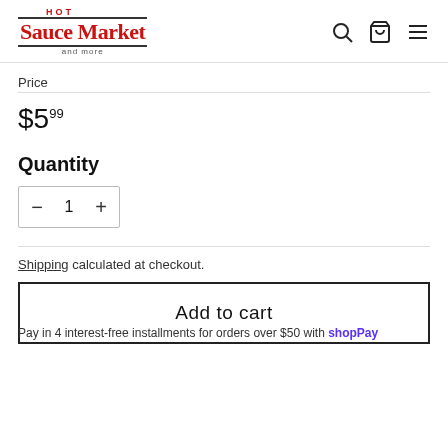HOT Sauce Market and more — navigation header with search, cart, and menu icons
Price
$5.99
Quantity
— 1 +
Shipping calculated at checkout.
Add to cart
Pay in 4 interest-free installments for orders over $50 with Shop Pay